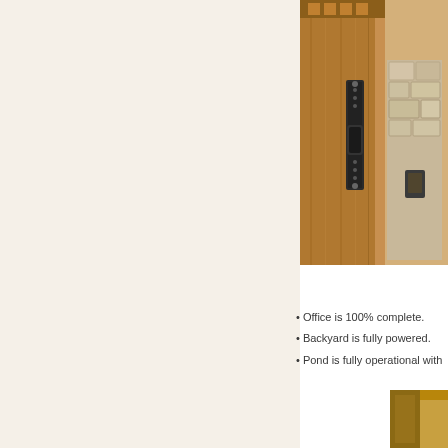[Figure (photo): Close-up photo of a wooden door with a dark iron/black pull handle and surrounding stonework, photographed from inside]
• Office is 100% complete.
• Backyard is fully powered.
• Pond is fully operational with
[Figure (photo): Partial photo in the bottom-right corner showing what appears to be outdoor or interior scene]